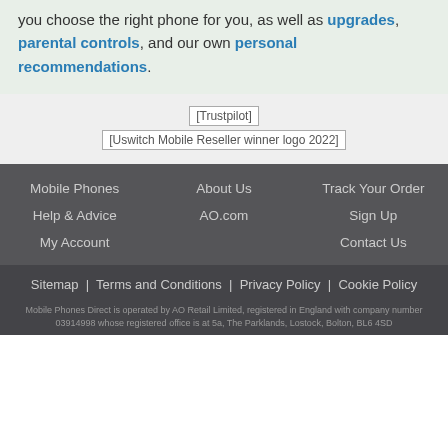you choose the right phone for you, as well as upgrades, parental controls, and our own personal recommendations.
[Figure (logo): Trustpilot logo placeholder]
[Figure (logo): Uswitch Mobile Reseller winner logo 2022 placeholder]
Mobile Phones
About Us
Track Your Order
Help & Advice
AO.com
Sign Up
My Account
Contact Us
Sitemap | Terms and Conditions | Privacy Policy | Cookie Policy
Mobile Phones Direct is operated by AO Retail Limited, registered in England with company number 03914998 whose registered office is at 5a, The Parklands, Lostock, Bolton, BL6 4SD